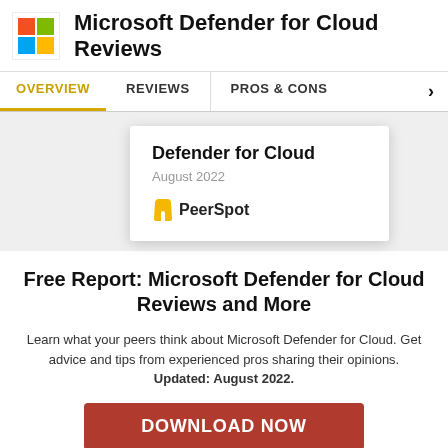Microsoft Defender for Cloud Reviews
[Figure (logo): Microsoft Windows logo (four colored squares: red, green, blue, yellow)]
OVERVIEW | REVIEWS | PROS & CONS
[Figure (screenshot): Floating card showing 'Defender for Cloud August 2022' with PeerSpot logo]
Free Report: Microsoft Defender for Cloud Reviews and More
Learn what your peers think about Microsoft Defender for Cloud. Get advice and tips from experienced pros sharing their opinions. Updated: August 2022.
[Figure (other): DOWNLOAD NOW button in dark red]